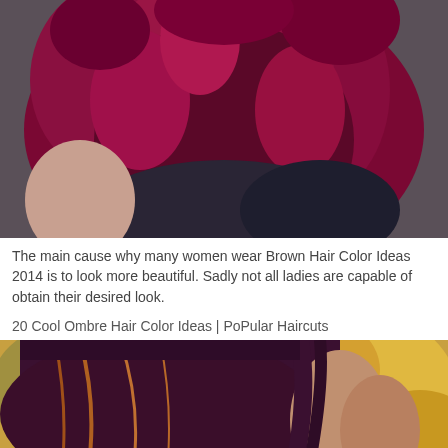[Figure (photo): Close-up photo of a woman with voluminous dark magenta/burgundy curly hair, wearing a dark jacket or top, photographed outdoors in dim light]
The main cause why many women wear Brown Hair Color Ideas 2014 is to look more beautiful. Sadly not all ladies are capable of obtain their desired look.
20 Cool Ombre Hair Color Ideas | PoPular Haircuts
[Figure (photo): Photo of a woman with dark purple-to-auburn ombre hair, shown from behind/side profile, with warm golden bokeh background]